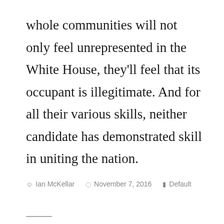whole communities will not only feel unrepresented in the White House, they'll feel that its occupant is illegitimate. And for all their various skills, neither candidate has demonstrated skill in uniting the nation.
Ian McKellar   November 7, 2016   Default